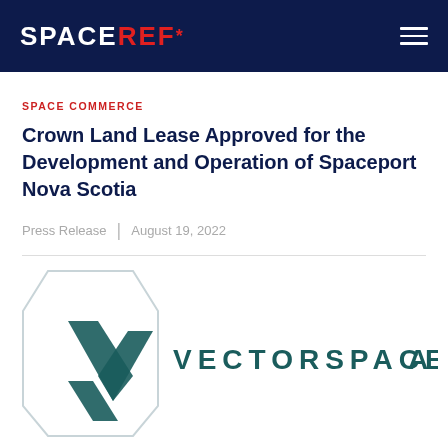SPACEREF*
SPACE COMMERCE
Crown Land Lease Approved for the Development and Operation of Spaceport Nova Scotia
Press Release | August 19, 2022
[Figure (logo): Vectorspace AI logo showing a chevron/arrow symbol in dark teal on left and 'VECTORSPACE A' text in dark teal capitals on right, inside a light hexagonal border shape]